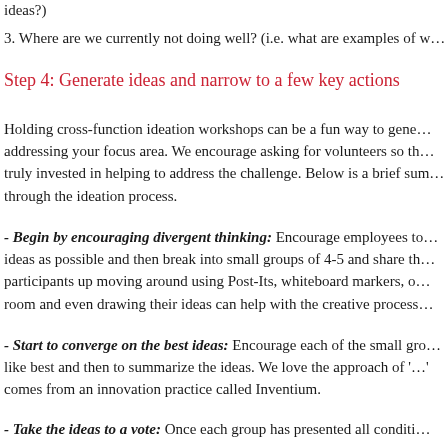ideas?)
3. Where are we currently not doing well? (i.e. what are examples of w…
Step 4: Generate ideas and narrow to a few key actions
Holding cross-function ideation workshops can be a fun way to generate ideas addressing your focus area. We encourage asking for volunteers so that they are truly invested in helping to address the challenge. Below is a brief summary to guide through the ideation process.
- Begin by encouraging divergent thinking: Encourage employees to generate as many ideas as possible and then break into small groups of 4-5 and share their ideas. Getting participants up moving around using Post-Its, whiteboard markers, drawing around the room and even drawing their ideas can help with the creative process.
- Start to converge on the best ideas: Encourage each of the small groups to pick the ideas they like best and then to summarize the ideas. We love the approach of '…' which comes from an innovation practice called Inventium.
- Take the ideas to a vote: Once each group has presented all conditions…